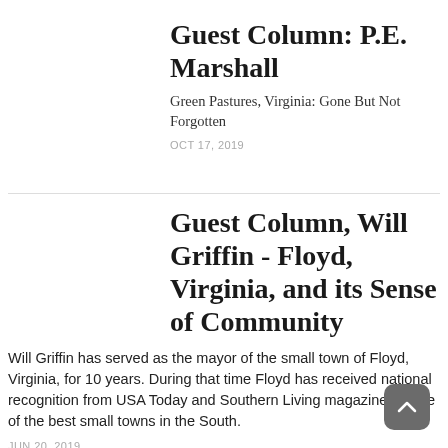Guest Column: P.E. Marshall
Green Pastures, Virginia: Gone But Not Forgotten
OCT 17, 2019
Guest Column, Will Griffin - Floyd, Virginia, and its Sense of Community
Will Griffin has served as the mayor of the small town of Floyd, Virginia, for 10 years. During that time Floyd has received national recognition from USA Today and Southern Living magazine as one of the best small towns in the South.
JUN 20, 2019